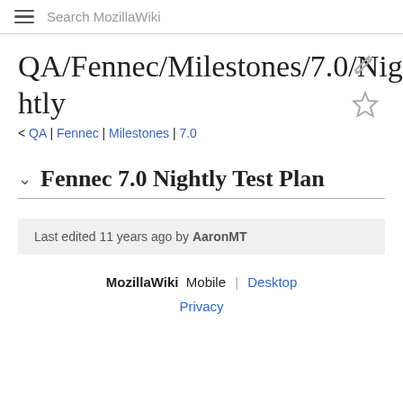Search MozillaWiki
QA/Fennec/Milestones/7.0/Nightly
< QA | Fennec | Milestones | 7.0
Fennec 7.0 Nightly Test Plan
Last edited 11 years ago by AaronMT
MozillaWiki Mobile | Desktop
Privacy